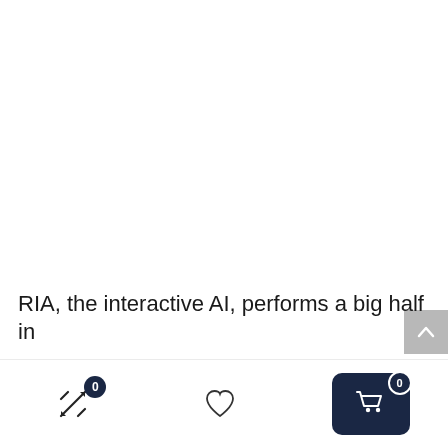[Figure (screenshot): Blank white area — top portion of a webpage screenshot]
[Figure (other): Gray scroll-to-top button with upward chevron arrow on the right edge]
RIA, the interactive AI, performs a big half in
[Figure (other): Bottom navigation bar with: compare icon with badge 0, heart/wishlist icon, and dark cart button with badge 0]